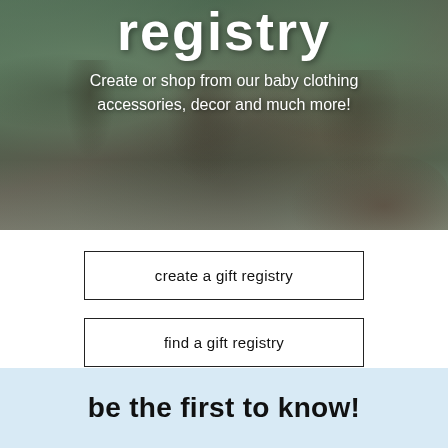[Figure (photo): Outdoor baby shower or garden party scene with people gathered, white fabric/linens on the ground, natural green background. Text overlaid: 'registry' as large title and subtitle text below.]
registry
Create or shop from our baby clothing accessories, decor and much more!
create a gift registry
find a gift registry
be the first to know!